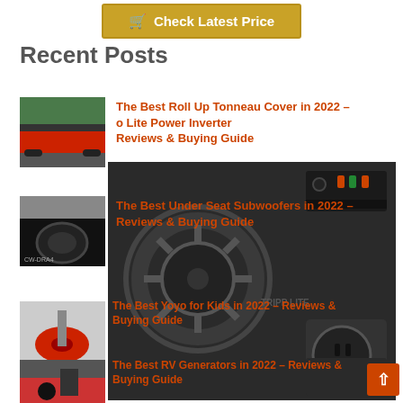[Figure (other): Yellow/gold 'Check Latest Price' button with shopping cart icon]
Recent Posts
[Figure (photo): Red pickup truck with tonneau cover from behind]
The Best Roll Up Tonneau Cover in 2022 – Lite Power Inverter Reviews & Buying Guide
[Figure (photo): Under seat subwoofer CW-DRA4]
The Best Under Seat Subwoofers in 2022 – Reviews & Buying Guide
[Figure (photo): Large background photo of Tripp Lite power inverter back panel showing fan, outlets, ports]
The Best Yoyo for Kids in 2022 – Reviews & Buying Guide
[Figure (photo): RV/generator hookup with red connector]
The Best RV Generators in 2022 – Reviews & Buying Guide